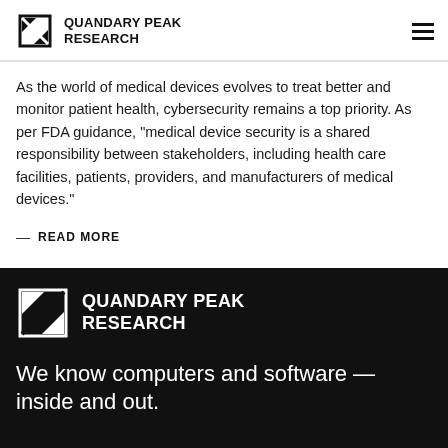QUANDARY PEAK RESEARCH
As the world of medical devices evolves to treat better and monitor patient health, cybersecurity remains a top priority. As per FDA guidance, "medical device security is a shared responsibility between stakeholders, including health care facilities, patients, providers, and manufacturers of medical devices."
— READ MORE
[Figure (logo): Quandary Peak Research logo in white on black background]
We know computers and software — inside and out.